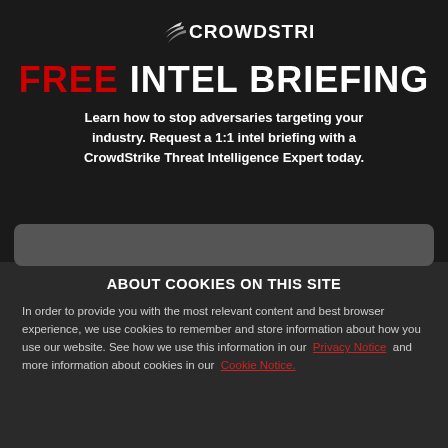[Figure (logo): CrowdStrike logo in white on dark background]
FREE INTEL BRIEFING
Learn how to stop adversaries targeting your industry. Request a 1:1 intel briefing with a CrowdStrike Threat Intelligence Expert today.
ABOUT COOKIES ON THIS SITE
In order to provide you with the most relevant content and best browser experience, we use cookies to remember and store information about how you use our website. See how we use this information in our Privacy Notice and more information about cookies in our Cookie Notice.